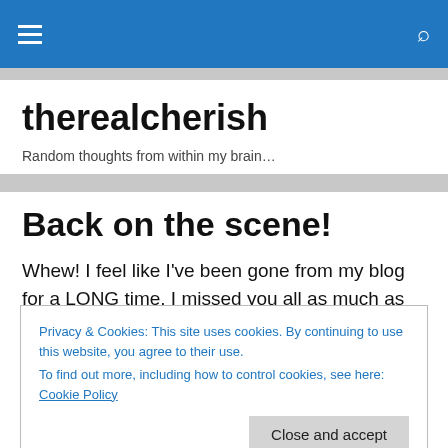therealcherish — navigation bar with hamburger menu and search icon
therealcherish
Random thoughts from within my brain…
Back on the scene!
Whew! I feel like I've been gone from my blog for a LONG time. I missed you all as much as I'm sure you missed me
Privacy & Cookies: This site uses cookies. By continuing to use this website, you agree to their use.
To find out more, including how to control cookies, see here: Cookie Policy
City, I made a HUGE life change. I quit my job, took